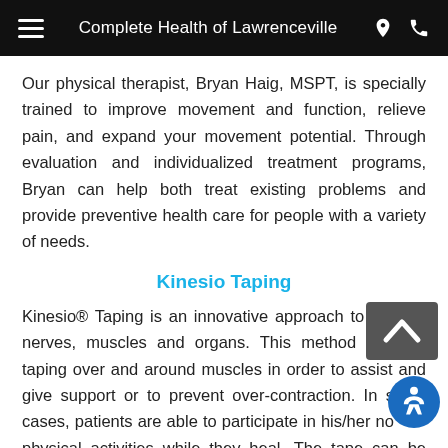Complete Health of Lawrenceville
Our physical therapist, Bryan Haig, MSPT, is specially trained to improve movement and function, relieve pain, and expand your movement potential. Through evaluation and individualized treatment programs, Bryan can help both treat existing problems and provide preventive health care for people with a variety of needs.
Kinesio Taping
Kinesio® Taping is an innovative approach to treating nerves, muscles and organs. This method involves taping over and around muscles in order to assist and give support or to prevent over-contraction. In some cases, patients are able to participate in his/her normal physical activities while they heal. The tape can be worn